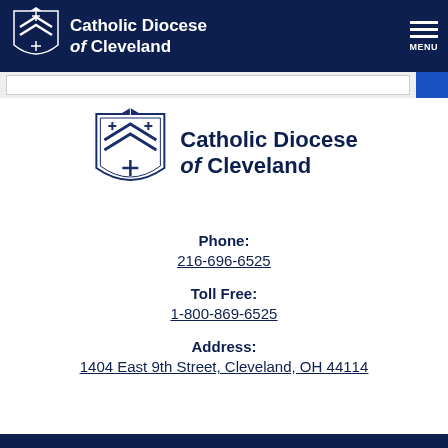Catholic Diocese of Cleveland
[Figure (logo): Catholic Diocese of Cleveland crest/shield logo with text 'Catholic Diocese of Cleveland']
Phone:
216-696-6525
Toll Free:
1-800-869-6525
Address:
1404 East 9th Street, Cleveland, OH 44114